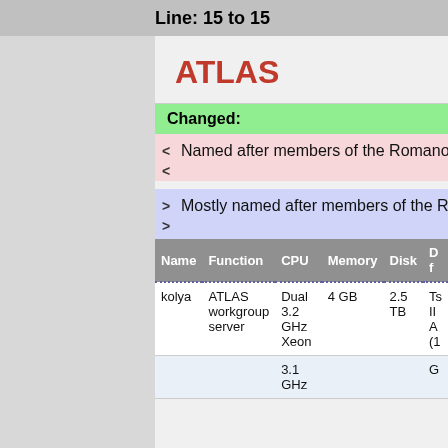Line: 15 to 15
ATLAS
Changed:
< Named after members of the Romanov dynasty
> Mostly named after members of the Romanov dynasty
| Name | Function | CPU | Memory | Disk | D f |
| --- | --- | --- | --- | --- | --- |
| kolya | ATLAS workgroup server | Dual 3.2 GHz Xeon | 4 GB | 2.5 TB | Ts II A (1 |
|  |  | 3.1 GHz |  |  | G |